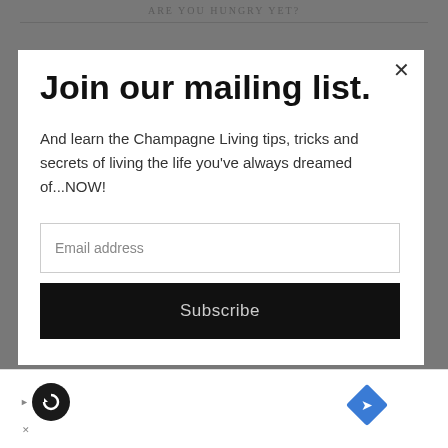ARE YOU HUNGRY YET?
Join our mailing list.
And learn the Champagne Living tips, tricks and secrets of living the life you've always dreamed of...NOW!
Email address
Subscribe